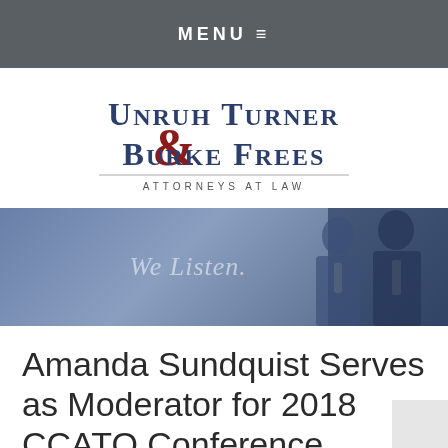MENU ≡
[Figure (logo): Unruh Turner Burke & Frees Attorneys at Law law firm logo with serif text and ampersand in dark red]
[Figure (photo): Hero banner image with two men in suits, blue-tinted overlay, text 'We Listen.' in italic]
Amanda Sundquist Serves as Moderator for 2018 CCATO Conference